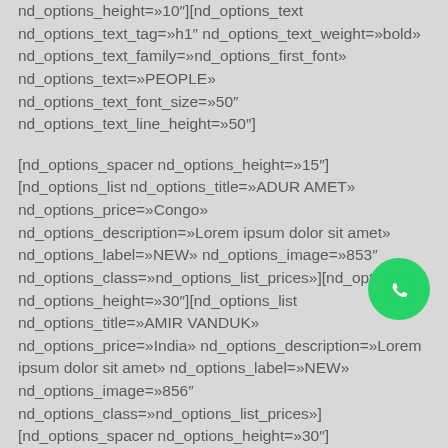nd_options_height=»10″][nd_options_text nd_options_text_tag=»h1″ nd_options_text_weight=»bold» nd_options_text_family=»nd_options_first_font» nd_options_text=»PEOPLE» nd_options_text_font_size=»50″ nd_options_text_line_height=»50″]
[nd_options_spacer nd_options_height=»15″][nd_options_list nd_options_title=»ADUR AMET» nd_options_price=»Congo» nd_options_description=»Lorem ipsum dolor sit amet» nd_options_label=»NEW» nd_options_image=»853″ nd_options_class=»nd_options_list_prices»][nd_options_ nd_options_height=»30″][nd_options_list nd_options_title=»AMIR VANDUK» nd_options_price=»India» nd_options_description=»Lorem ipsum dolor sit amet» nd_options_label=»NEW» nd_options_image=»856″ nd_options_class=»nd_options_list_prices»][nd_options_spacer nd_options_height=»30″][nd_options_list nd_options_title=»LEILA AMRIL» nd_options_price=»Gambia» nd_options_description=»Lorem ipsum dolor sit amet»